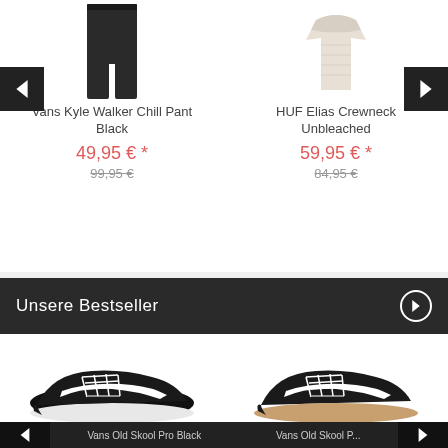[Figure (photo): Vans Kyle Walker Chill Pant Black - black pants product photo]
[Figure (photo): HUF Elias Crewneck Unbleached - beige crewneck sweatshirt product photo]
Vans Kyle Walker Chill Pant Black
49,95 € *
99,95 €
HUF Elias Crewneck Unbleached
59,95 € *
84,95 €
Unsere Bestseller
[Figure (photo): Vans Old Skool Pro Black sneaker - black and white low-top shoe]
[Figure (photo): Vans Old Skool Pro - black and white sneaker with gum sole]
Vans Old Skool Pro Black
Vans Old Skool P...